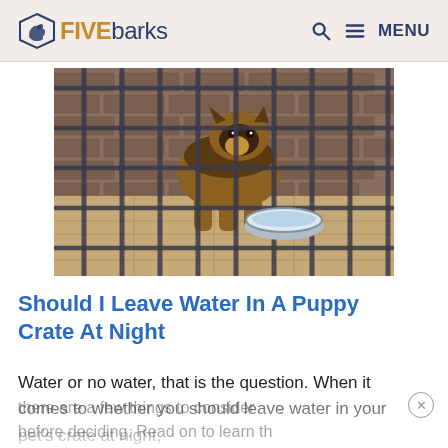FIVEbarks — Q MENU
[Figure (photo): A German Shepherd dog inside a metal crate with bars, sitting near a metal water bowl, with a brick wall visible in the background.]
Should I Leave Water In A Puppy Crate At Night
Water or no water, that is the question. When it comes to whether you should leave water in your pet's crate at night, there are a few things to consider before deciding. Read on to learn the